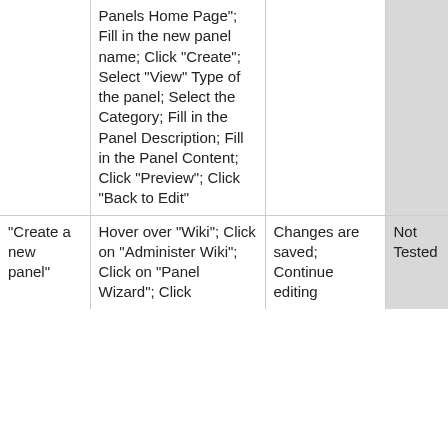|  | Panels Home Page"; Fill in the new panel name; Click "Create"; Select "View" Type of the panel; Select the Category; Fill in the Panel Description; Fill in the Panel Content; Click "Preview"; Click "Back to Edit" |  | Not Tested | - |
| "Create a new panel" | Hover over "Wiki"; Click on "Administer Wiki"; Click on "Panel Wizard"; Click | Changes are saved; Continue editing | Not Tested | - |